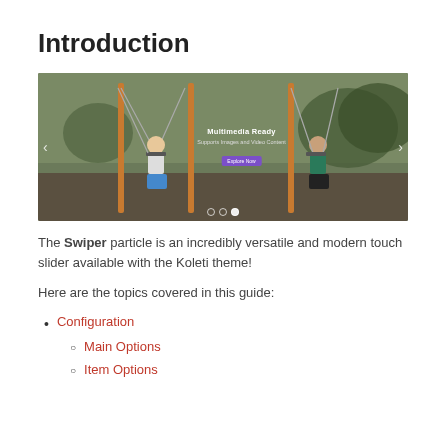Introduction
[Figure (screenshot): A slider/carousel showing two women sitting on swings in a park setting, with an overlay text box reading 'Multimedia Ready' and a purple 'Explore Now' button. Navigation arrows on left and right, pagination dots at bottom.]
The Swiper particle is an incredibly versatile and modern touch slider available with the Koleti theme!
Here are the topics covered in this guide:
Configuration
Main Options
Item Options